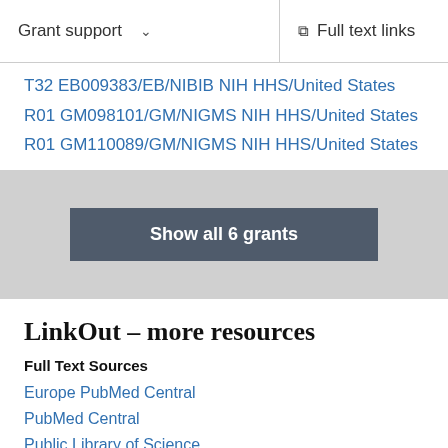Grant support
T32 EB009383/EB/NIBIB NIH HHS/United States
R01 GM098101/GM/NIGMS NIH HHS/United States
R01 GM110089/GM/NIGMS NIH HHS/United States
Show all 6 grants
LinkOut – more resources
Full Text Sources
Europe PubMed Central
PubMed Central
Public Library of Science